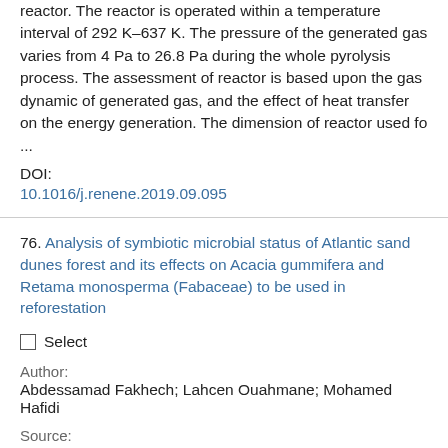reactor. The reactor is operated within a temperature interval of 292 K–637 K. The pressure of the generated gas varies from 4 Pa to 26.8 Pa during the whole pyrolysis process. The assessment of reactor is based upon the gas dynamic of generated gas, and the effect of heat transfer on the energy generation. The dimension of reactor used fo ...
DOI:
10.1016/j.renene.2019.09.095
76. Analysis of symbiotic microbial status of Atlantic sand dunes forest and its effects on Acacia gummifera and Retama monosperma (Fabaceae) to be used in reforestation
Select
Author:
Abdessamad Fakhech; Lahcen Ouahmane; Mohamed Hafidi
Source:
Journal of forestry research 2020 v.31 no.4 pp. 1309-1317
ISSN: